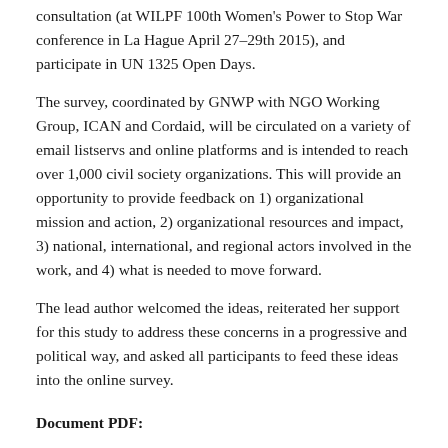consultation (at WILPF 100th Women's Power to Stop War conference in La Hague April 27–29th 2015), and participate in UN 1325 Open Days.
The survey, coordinated by GNWP with NGO Working Group, ICAN and Cordaid, will be circulated on a variety of email listservs and online platforms and is intended to reach over 1,000 civil society organizations. This will provide an opportunity to provide feedback on 1) organizational mission and action, 2) organizational resources and impact, 3) national, international, and regional actors involved in the work, and 4) what is needed to move forward.
The lead author welcomed the ideas, reiterated her support for this study to address these concerns in a progressive and political way, and asked all participants to feed these ideas into the online survey.
Document PDF: